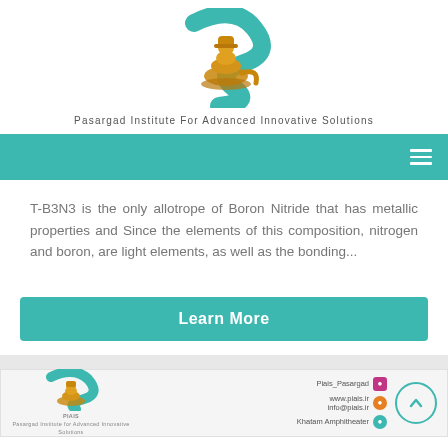[Figure (logo): Pasargad Institute For Advanced Innovative Solutions logo — golden figurine with teal S-shaped design]
Pasargad Institute For Advanced Innovative Solutions
[Figure (other): Teal navigation bar with hamburger menu icon on the right]
T-B3N3 is the only allotrope of Boron Nitride that has metallic properties and Since the elements of this composition, nitrogen and boron, are light elements, as well as the bonding...
Learn More
[Figure (logo): Footer logo of PIAIS — Pasargad Institute for Advanced Innovative Solutions, small golden figurine]
Piais_Pasargad
www.piais.ir
info@piais.ir
Khatam Amphitheater